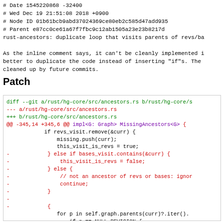# Date 1545220868 -32400
#      Wed Dec 19 21:51:08 2018 +0900
# Node ID 01b61bcb9abd37024369ce80eb2c585d47add935
# Parent  e87cc0ce61a67f7fbc9c12ab1505a23e23b8217d
rust-ancestors: duplicate loop that visits parents of revs/ba
As the inline comment says, it can't be cleanly implemented i better to duplicate the code instead of inserting "if"s. The cleaned up by future commits.
Patch
[Figure (screenshot): Diff patch block showing git diff of rust/hg-core/src/ancestors.rs with removed lines (red) and context lines showing if/else logic for bases_visit and revs_visit handling, followed by for loop iterating parents.]